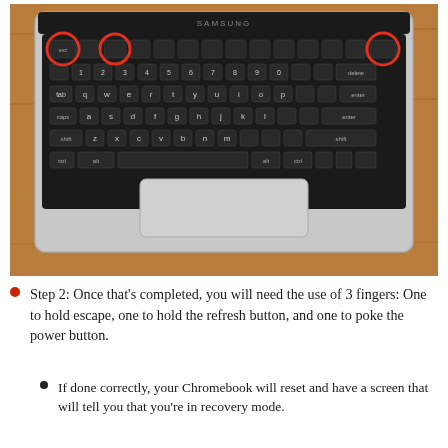[Figure (photo): Top-down photo of a Samsung Chromebook keyboard on a wooden surface. Three keys are circled in red/orange: the Escape key (top-left), the Refresh key (top-center), and the Power button (top-right corner).]
Step 2: Once that's completed, you will need the use of 3 fingers: One to hold escape, one to hold the refresh button, and one to poke the power button.
If done correctly, your Chromebook will reset and have a screen that will tell you that you're in recovery mode.